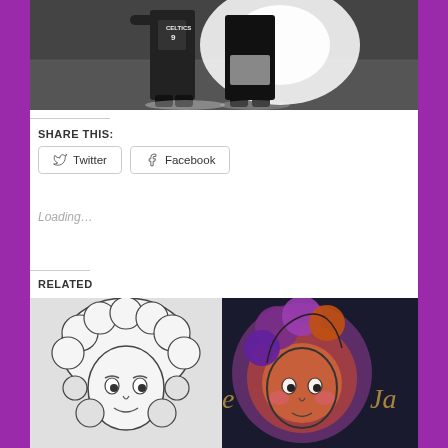[Figure (photo): Black and white photo of two people, one wearing a Celtics #9 jersey, posing together indoors on a tiled floor with bright backlight]
SHARE THIS:
Twitter
Facebook
Loading...
RELATED
[Figure (illustration): Black and white line drawing illustration of a curly-haired cartoon character face]
[Figure (illustration): Colorful illustration of a curly-haired cartoon character with purple, orange and pink tones on dark background, partial text visible]